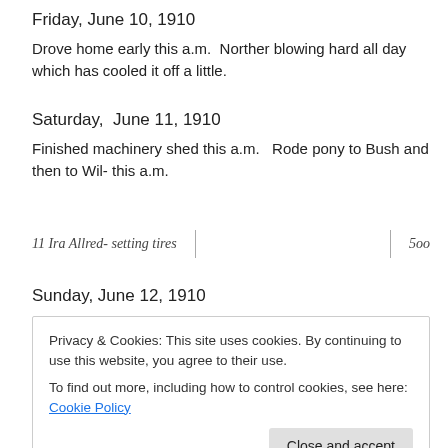Friday, June 10, 1910
Drove home early this a.m.  Norther blowing hard all day which has cooled it off a little.
Saturday,  June 11, 1910
Finished machinery shed this a.m.   Rode pony to Bush and then to Wil- this a.m.
[Figure (other): Handwritten ledger entry in cursive: '11 Ira Allred- setting tires' with vertical separator lines and amount '5 00']
Sunday, June 12, 1910
Privacy & Cookies: This site uses cookies. By continuing to use this website, you agree to their use.
To find out more, including how to control cookies, see here: Cookie Policy
[Close and accept button]